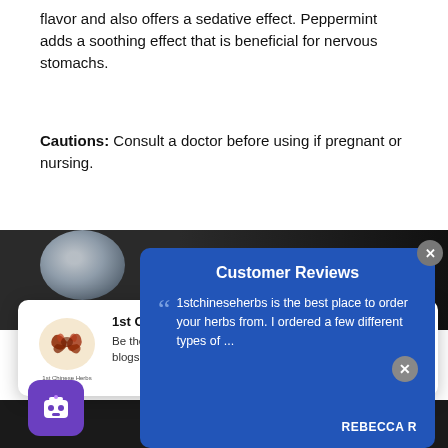flavor and also offers a sedative effect. Peppermint adds a soothing effect that is beneficial for nervous stomachs.
Cautions: Consult a doctor before using if pregnant or nursing.
[Figure (photo): Partial dark background with a light-colored round object (possibly a pearl or shell) visible in the upper area.]
[Figure (infographic): Push notification card from '1st Chinese Herbs' with logo, title '1st Chinese Herbs', and text 'Be the first to know about new products, sales, informative blogs and more! Please allow us to share']
[Figure (infographic): Customer Reviews popup panel in dark blue showing a review quote: '1stchineseherbs is the best place to order your herbs from. I ordered a few different types of ...' attributed to REBECCA R]